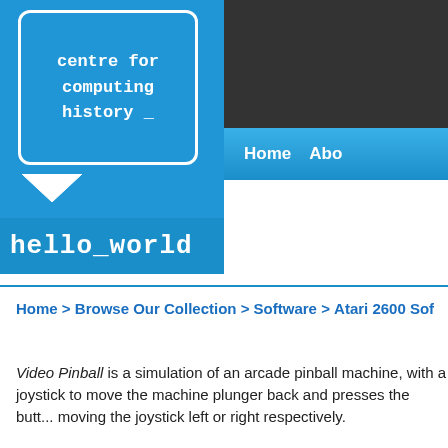[Figure (logo): Centre for Computing History logo: blue background with a white speech-bubble shaped monitor icon and monospace text 'centre for computing history _']
hello_world
Home > Browse Our Collection > Software > Atari 2600 Sof...
Video Pinball is a simulation of an arcade pinball machine, with a joystick to move the machine plunger back and presses the butt... moving the joystick left or right respectively.